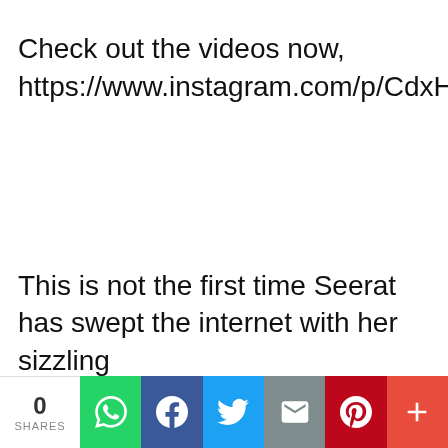Check out the videos now, https://www.instagram.com/p/CdxHDPcg5QG/
This is not the first time Seerat has swept the internet with her sizzling